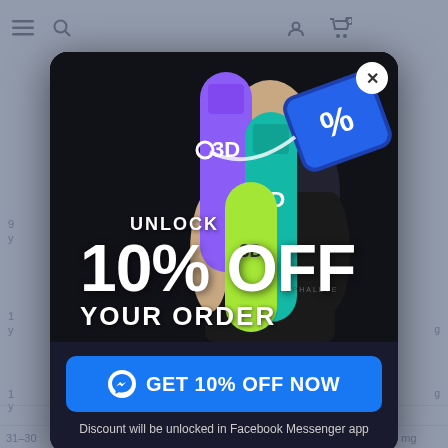[Figure (screenshot): E-commerce website background with navigation icons and partial table data visible behind a modal popup. Navigation bar at top with hamburger menu, search, account, and cart icons.]
[Figure (photo): Modal popup overlay showing a man holding two cylindrical product tubes labeled '3D', with a floating blue discount tag showing a percentage symbol. Text overlay reads 'UNLOCK 10% OFF YOUR ORDER'. A blue button reads 'GET 10% OFF NOW' with Facebook Messenger icon. Below: 'Discount will be unlocked in Facebook Messenger app'.]
UNLOCK
10% OFF
YOUR ORDER
GET 10% OFF NOW
Discount will be unlocked in Facebook Messenger app